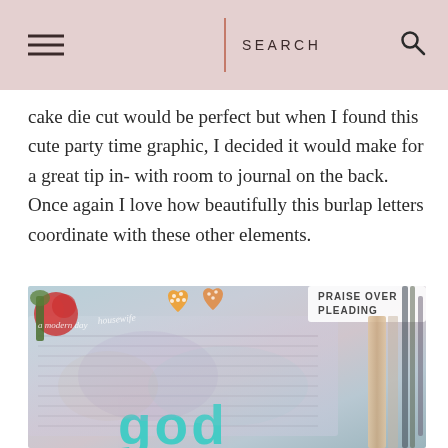SEARCH
cake die cut would be perfect but when I found this cute party time graphic, I decided it would make for a great tip in- with room to journal on the back. Once again I love how beautifully this burlap letters coordinate with these other elements.
[Figure (photo): Close-up photo of a Bible journaling spread with colorful burlap letters spelling 'god' in teal, mixed media art with watercolor/painted textures, patterned hearts/decorations, text overlay reading 'PRAISE OVER PLEADING', watermark reading 'a modern day housewife']